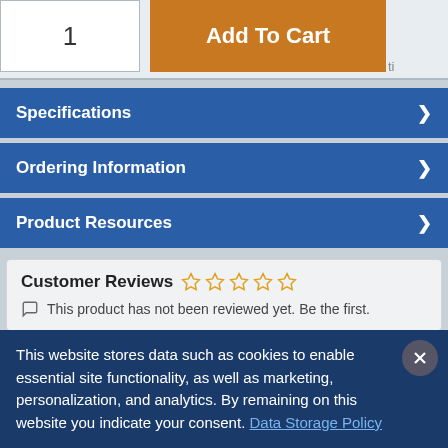[Figure (screenshot): Quantity input box showing '1' and an orange 'Add To Cart' button]
Specifications
Ordering Information
Product Resources
Customer Reviews
This product has not been reviewed yet. Be the first.
Write Review for CRWIN1G
This website stores data such as cookies to enable essential site functionality, as well as marketing, personalization, and analytics. By remaining on this website you indicate your consent. Data Storage Policy